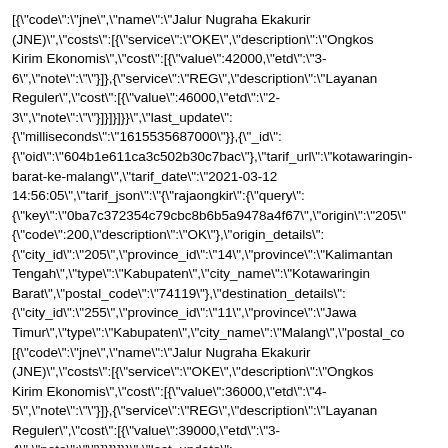[{"code":"jne","name":"Jalur Nugraha Ekakurir (JNE)","costs":[{"service":"OKE","description":"Ongkos Kirim Ekonomis","cost":[{"value":42000,"etd":"3-6","note":""}]},{"service":"REG","description":"Layanan Reguler","cost":[{"value":46000,"etd":"2-3","note":""}]}]}]}}","last_update": {"milliseconds":"1615535687000"}},{"_id": {"oid":"604b1e611ca3c502b30c7bac"},"tarif_url":"kotawaringin-barat-ke-malang","tarif_date":"2021-03-12 14:56:05","tarif_json":"{\"rajaongkir\":{\"query\": {\"key\":\"0ba7c372354c79cbc8b6b5a9478a4f67\",\"origin\":\"205\" {\"code\":200,\"description\":\"OK\"},\"origin_details\": {\"city_id\":\"205\",\"province_id\":\"14\",\"province\":\"Kalimantan Tengah\",\"type\":\"Kabupaten\",\"city_name\":\"Kotawaringin Barat\",\"postal_code\":\"74119\"},\"destination_details\": {\"city_id\":\"255\",\"province_id\":\"11\",\"province\":\"Jawa Timur\",\"type\":\"Kabupaten\",\"city_name\":\"Malang\",\"postal_co [{\"code\":\"jne\",\"name\":\"Jalur Nugraha Ekakurir (JNE)\",\"costs\":[{\"service\":\"OKE\",\"description\":\"Ongkos Kirim Ekonomis\",\"cost\":[{\"value\":36000,\"etd\":\"4-5\",\"note\":\"\"}]},{\"service\":\"REG\",\"description\":\"Layanan Reguler\",\"cost\":[{\"value\":39000,\"etd\":\"3-4\",\"note\":\"\"}]}]}]}}","last_update": {"milliseconds":"1615535713000"},{"_id": {"oid":"604b1ebc1ca3c502b30c7bae"},"tarif_url":"pamekasan-ke-